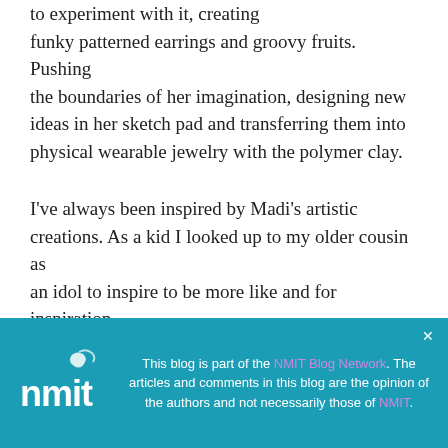to experiment with it, creating funky patterned earrings and groovy fruits. Pushing the boundaries of her imagination, designing new ideas in her sketch pad and transferring them into physical wearable jewelry with the polymer clay.
I've always been inspired by Madi's artistic creations. As a kid I looked up to my older cousin as an idol to inspire to be more like and for inspiration, to push the boundaries of what I could do and what
This blog is part of the NMIT Blog Network. The articles and comments in this blog are the opinion of the authors and not necessarily those of NMIT.